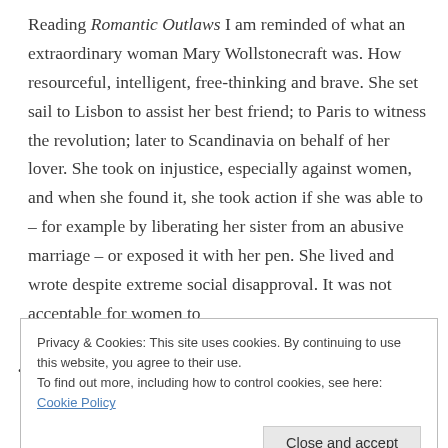Reading Romantic Outlaws I am reminded of what an extraordinary woman Mary Wollstonecraft was. How resourceful, intelligent, free-thinking and brave. She set sail to Lisbon to assist her best friend; to Paris to witness the revolution; later to Scandinavia on behalf of her lover. She took on injustice, especially against women, and when she found it, she took action if she was able to – for example by liberating her sister from an abusive marriage – or exposed it with her pen. She lived and wrote despite extreme social disapproval. It was not acceptable for women to
Privacy & Cookies: This site uses cookies. By continuing to use this website, you agree to their use.
To find out more, including how to control cookies, see here: Cookie Policy